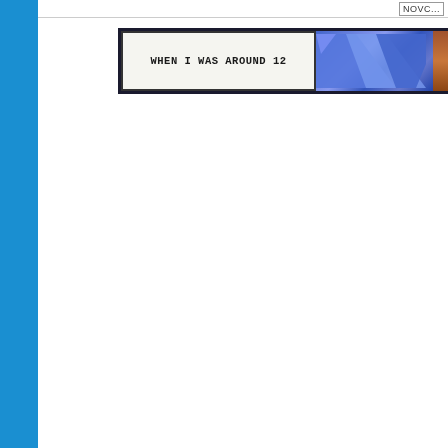NOVEM...
[Figure (illustration): Comic panel showing a speech/caption box with text 'WHEN I WAS AROUND 12' on a dark background, with blue geometric shapes and a brown strip on the right edge.]